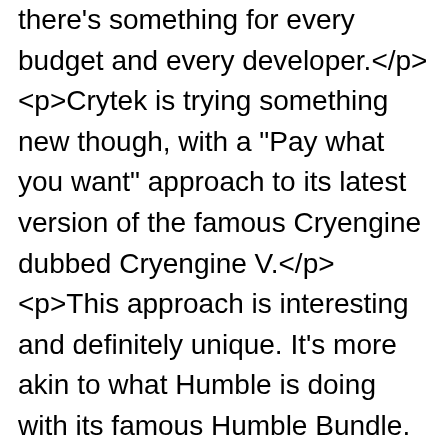there's something for every budget and every developer.</p><p>Crytek is trying something new though, with a "Pay what you want" approach to its latest version of the famous Cryengine dubbed Cryengine V.</p><p>This approach is interesting and definitely unique. It's more akin to what Humble is doing with its famous Humble Bundle. And right on time, Crytek has launched a bundle for its Cryengine assets. You can buy 3D trees and more and give all that money to charity.</p><p>This version of the Cryengine is built with VR in mind and focuses on optimization to ensure a stable framerate.</p><p>On top of that, Crytek also unveiled VRscore, a benchmarking tool built with Basemark.</p><p>Crytek also revealed a new VR experience called Sky Harbor and we should learn more about it soon, ahead of a planned summer launch on major VR HMDs.</p><p>You can now check it out over on the Crytek's official website.</p>&#;
Game play 
1 idle farm clicker Mod idle farm clicker v1.0.1 mod Featured: loc